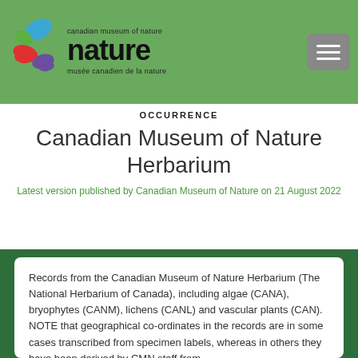Canadian Museum of Nature — nature / musée canadien de la nature
OCCURRENCE
Canadian Museum of Nature Herbarium
Latest version published by Canadian Museum of Nature on 21 August 2022
Records from the Canadian Museum of Nature Herbarium (The National Herbarium of Canada), including algae (CANA), bryophytes (CANM), lichens (CANL) and vascular plants (CAN). NOTE that geographical co-ordinates in the records are in some cases transcribed from specimen labels, whereas in others they have been derived by CMN staff from